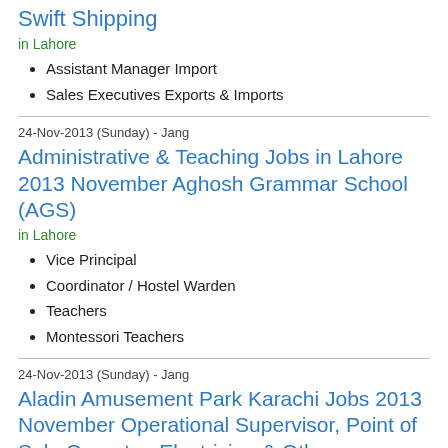Swift Shipping
in Lahore
Assistant Manager Import
Sales Executives Exports & Imports
24-Nov-2013 (Sunday) - Jang
Administrative & Teaching Jobs in Lahore 2013 November Aghosh Grammar School (AGS)
in Lahore
Vice Principal
Coordinator / Hostel Warden
Teachers
Montessori Teachers
24-Nov-2013 (Sunday) - Jang
Aladin Amusement Park Karachi Jobs 2013 November Operational Supervisor, Point of Sale Operator, Electrician & Others
in Karachi